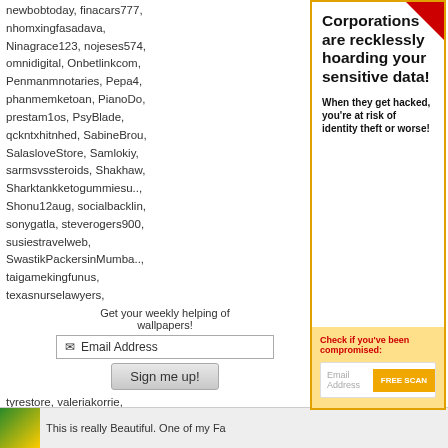newbobtoday, finacars777, nhomxingfasadava, Ninagrace123, nojeses574, omnidigital, Onbetlinkcom, Penmanmnotaries, Pepa4, phanmemketoan, PianoDo, prestam1os, PsyBlade, qckntxhitnhed, SabineBro, SalasloveStore, Samlokiy, sarmsvssteroids, Shakhaw, Sharktankketogummiesu…, Shonu12aug, socialbacklin, sonygatla, steverogers900, susiestravelweb, SwastikPackersinMumba…, taigamekingfunus, texasnurselawyers, theglobalcitysvn24, theparkavenuecity, ThorsenBryan99, tiptopum, top10vietnamta, topd026, trainwellnessbike, Tropics, tyrestore, valeriakorrie, virtualpangeaseo, vn138b, w88betfun, xxLuxury777xx
Most users ever online was 150,759 on 9/11/14.
Get your weekly helping of wallpapers!
[Figure (screenshot): Advertisement popup overlay with red corner badge, headline about corporations hoarding data, subtext about identity theft risk, and a yellow call-to-action section with email input and FREE SCAN button]
Corporations are recklessly hoarding your sensitive data!
When they get hacked, you're at risk of identity theft or worse!
Check if you've been compromised:
Email Address
FREE SCAN
This is really Beautiful. One of my Fa